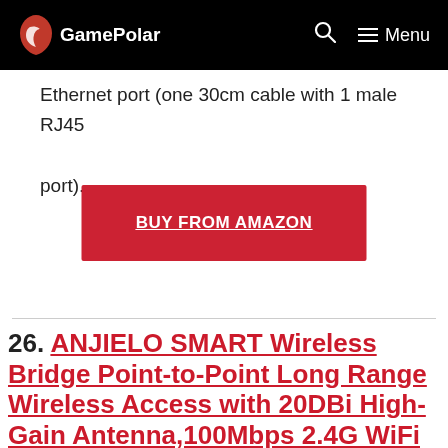GamePolar
Ethernet port (one 30cm cable with 1 male RJ45 port).
BUY FROM AMAZON
26. ANJIELO SMART Wireless Bridge Point-to-Point Long Range Wireless Access with 20DBi High-Gain Antenna,100Mbps 2.4G WiFi Bridge Supports 3000ft Outdoor Transmission Distance Rout...